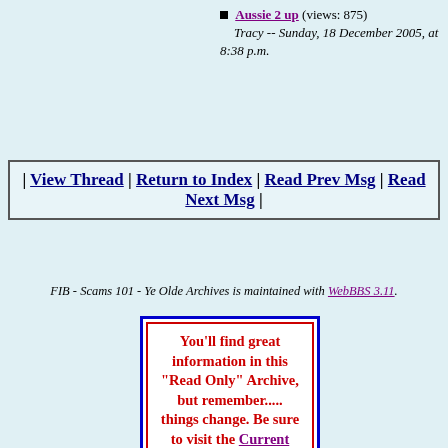Aussie 2 up (views: 875) Tracy -- Sunday, 18 December 2005, at 8:38 p.m.
| View Thread | Return to Index | Read Prev Msg | Read Next Msg |
FIB - Scams 101 - Ye Olde Archives is maintained with WebBBS 3.11.
You'll find great information in this "Read Only" Archive, but remember..... things change. Be sure to visit the Current Message Board when you're finished here.